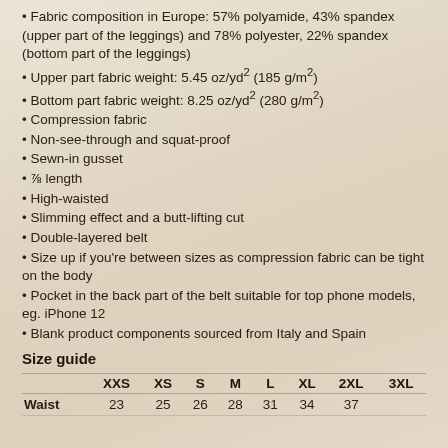Fabric composition in Europe: 57% polyamide, 43% spandex (upper part of the leggings) and 78% polyester, 22% spandex (bottom part of the leggings)
Upper part fabric weight: 5.45 oz/yd² (185 g/m²)
Bottom part fabric weight: 8.25 oz/yd² (280 g/m²)
Compression fabric
Non-see-through and squat-proof
Sewn-in gusset
⅞ length
High-waisted
Slimming effect and a butt-lifting cut
Double-layered belt
Size up if you're between sizes as compression fabric can be tight on the body
Pocket in the back part of the belt suitable for top phone models, eg. iPhone 12
Blank product components sourced from Italy and Spain
Size guide
|  | XXS | XS | S | M | L | XL | 2XL | 3XL |
| --- | --- | --- | --- | --- | --- | --- | --- | --- |
| Waist | 23 | 25 | 26 | 28 | 31 | 34 | 37 |  |